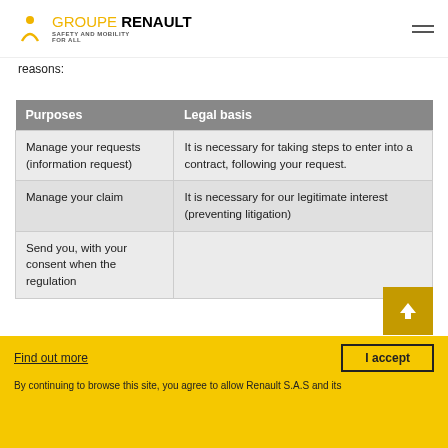GROUPE RENAULT — SAFETY AND MOBILITY FOR ALL
reasons:
| Purposes | Legal basis |
| --- | --- |
| Manage your requests (information request) | It is necessary for taking steps to enter into a contract, following your request. |
| Manage your claim | It is necessary for our legitimate interest (preventing litigation) |
| Send you, with your consent when the regulation |  |
Find out more
I accept
By continuing to browse this site, you agree to allow Renault S.A.S and its